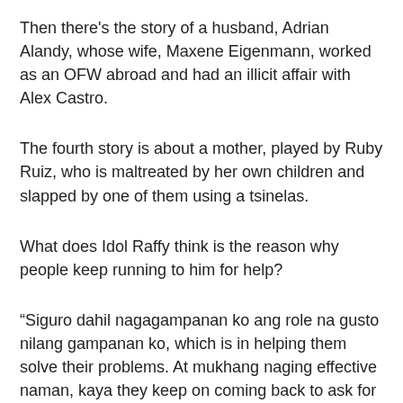Then there's the story of a husband, Adrian Alandy, whose wife, Maxene Eigenmann, worked as an OFW abroad and had an illicit affair with Alex Castro.
The fourth story is about a mother, played by Ruby Ruiz, who is maltreated by her own children and slapped by one of them using a tsinelas.
What does Idol Raffy think is the reason why people keep running to him for help?
“Siguro dahil nagagampanan ko ang role na gusto nilang gampanan ko, which is in helping them solve their problems. At mukhang naging effective naman, kaya they keep on coming back to ask for my help.”